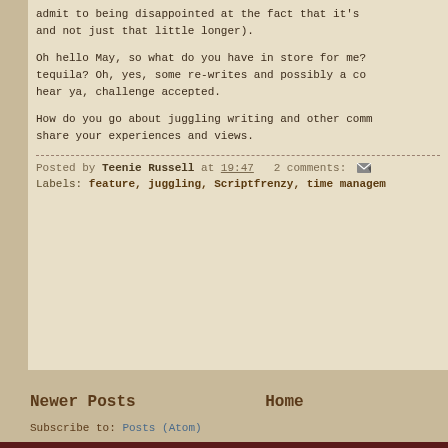admit to being disappointed at the fact that it's and not just that little longer).
Oh hello May, so what do you have in store for me? tequila? Oh, yes, some re-writes and possibly a co hear ya, challenge accepted.
How do you go about juggling writing and other comm share your experiences and views.
Posted by Teenie Russell at 19:47  2 comments:
Labels: feature, juggling, Scriptfrenzy, time managem
Newer Posts
Home
Subscribe to: Posts (Atom)